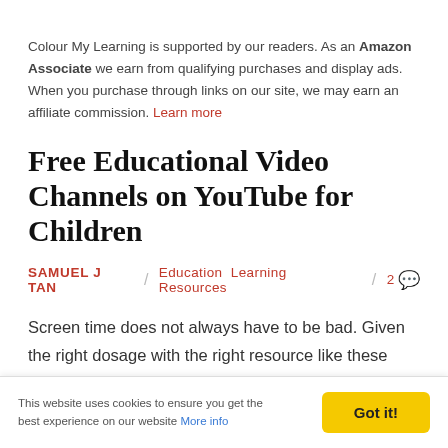Colour My Learning is supported by our readers. As an Amazon Associate we earn from qualifying purchases and display ads. When you purchase through links on our site, we may earn an affiliate commission. Learn more
Free Educational Video Channels on YouTube for Children
SAMUEL J TAN / Education Learning Resources / 2
Screen time does not always have to be bad. Given the right dosage with the right resource like these learning video channels on YouTube, you and fill your child's screen time and allow them to learn a thing or two along the way.
This website uses cookies to ensure you get the best experience on our website More info | Got it!